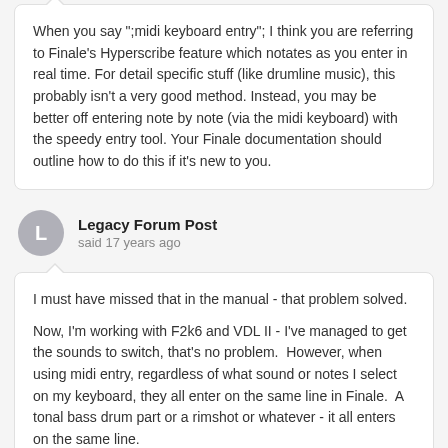When you say ";midi keyboard entry"; I think you are referring to Finale's Hyperscribe feature which notates as you enter in real time. For detail specific stuff (like drumline music), this probably isn't a very good method. Instead, you may be better off entering note by note (via the midi keyboard) with the speedy entry tool. Your Finale documentation should outline how to do this if it's new to you.
Legacy Forum Post
said 17 years ago
I must have missed that in the manual - that problem solved.

Now, I'm working with F2k6 and VDL II - I've managed to get the sounds to switch, that's no problem.  However, when using midi entry, regardless of what sound or notes I select on my keyboard, they all enter on the same line in Finale.  A tonal bass drum part or a rimshot or whatever - it all enters on the same line.